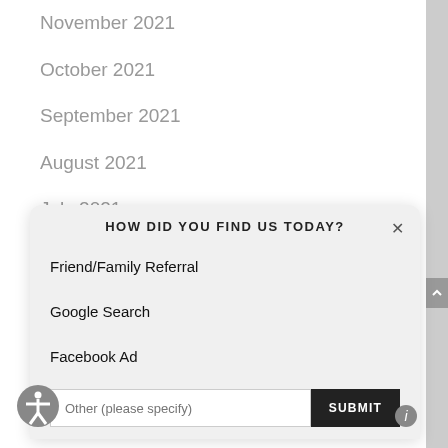November 2021
October 2021
September 2021
August 2021
July 2021
June 2021
HOW DID YOU FIND US TODAY?
Friend/Family Referral
Google Search
Facebook Ad
Other (please specify)
SUBMIT